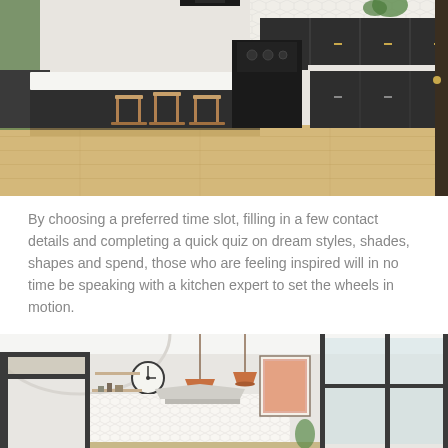[Figure (photo): Modern dark kitchen with island, wooden bar stools, light wood floor, white geometric tile backsplash, and dark cabinetry]
By choosing a preferred time slot, filling in a few contact details and completing a quick quiz on dream styles, shades, shapes and spend, those who are feeling inspired will in no time be speaking with a kitchen expert to set the wheels in motion.
[Figure (photo): Bright white kitchen with large dark-framed windows, pendant copper lights, wall clock, open shelving, white tile splashback and framed wall art]